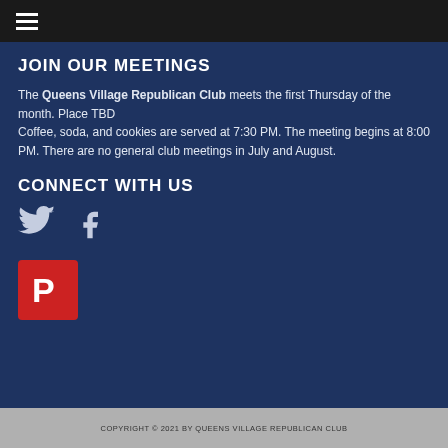≡
JOIN OUR MEETINGS
The Queens Village Republican Club meets the first Thursday of the month. Place TBD
Coffee, soda, and cookies are served at 7:30 PM. The meeting begins at 8:00 PM. There are no general club meetings in July and August.
CONNECT WITH US
[Figure (logo): Twitter bird icon and Facebook 'f' icon in light blue-grey color]
[Figure (logo): Parler app logo — red square with white stylized 'P' letter]
COPYRIGHT © 2021 BY QUEENS VILLAGE REPUBLICAN CLUB